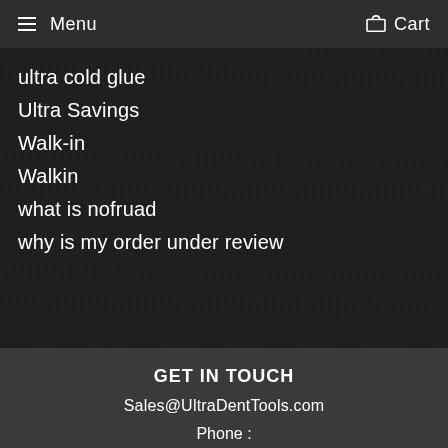Menu  Cart
ultra cold glue
Ultra Savings
Walk-in
Walkin
what is nofruad
why is my order under review
GET IN TOUCH
Sales@UltraDentTools.com
Phone :